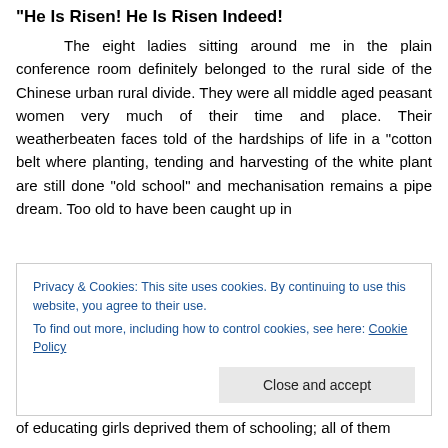“He Is Risen! He Is Risen Indeed!
The eight ladies sitting around me in the plain conference room definitely belonged to the rural side of the Chinese urban rural divide. They were all middle aged peasant women very much of their time and place. Their weatherbeaten faces told of the hardships of life in a “cotton belt where planting, tending and harvesting of the white plant are still done “old school” and mechanisation remains a pipe dream. Too old to have been caught up in
Privacy & Cookies: This site uses cookies. By continuing to use this website, you agree to their use.
To find out more, including how to control cookies, see here: Cookie Policy
Close and accept
of educating girls deprived them of schooling; all of them